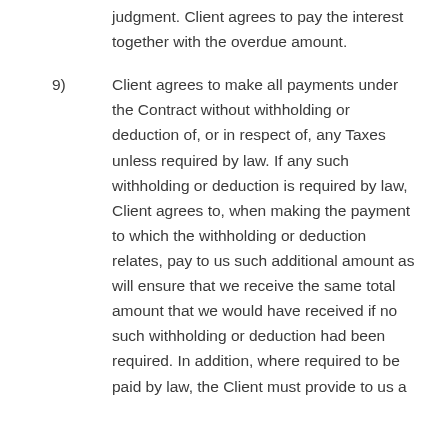judgment. Client agrees to pay the interest together with the overdue amount.
9) Client agrees to make all payments under the Contract without withholding or deduction of, or in respect of, any Taxes unless required by law. If any such withholding or deduction is required by law, Client agrees to, when making the payment to which the withholding or deduction relates, pay to us such additional amount as will ensure that we receive the same total amount that we would have received if no such withholding or deduction had been required. In addition, where required to be paid by law, the Client must provide to us a